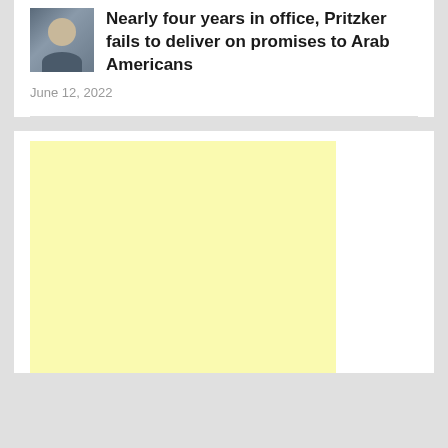Nearly four years in office, Pritzker fails to deliver on promises to Arab Americans
June 12, 2022
[Figure (other): Yellow advertisement placeholder block]